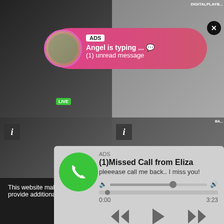[Figure (screenshot): Background video grid with adult content thumbnails]
ADS
Angel is typing ... 💬
(1) unread message
ADS
(1)Missed Call from Eliza
pleeease call me back.. I miss you!
0:00
3:23
This website makes use of cookies to enhance browsing experience and provide additional functionality. Privacy policy
Allow cookies